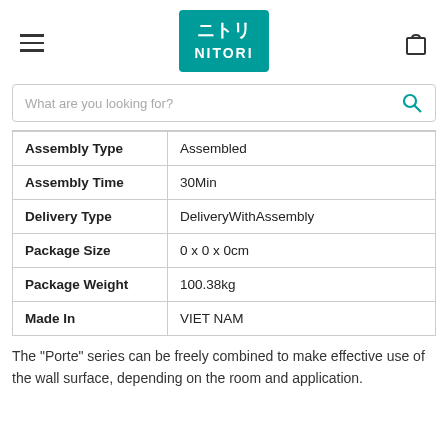[Figure (logo): Nitori logo — teal square with Japanese text ニトリ and NITORI in white]
| Attribute | Value |
| --- | --- |
| Assembly Type | Assembled |
| Assembly Time | 30Min |
| Delivery Type | DeliveryWithAssembly |
| Package Size | 0 x 0 x 0cm |
| Package Weight | 100.38kg |
| Made In | VIET NAM |
The "Porte" series can be freely combined to make effective use of the wall surface, depending on the room and application.